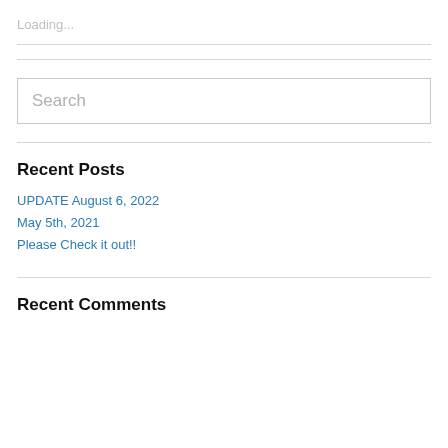Loading...
Recent Posts
UPDATE August 6, 2022
May 5th, 2021
Please Check it out!!
Recent Comments